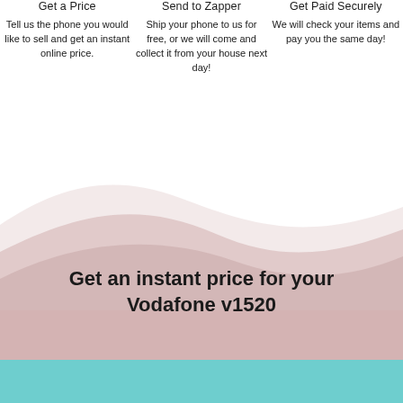Get a Price
Tell us the phone you would like to sell and get an instant online price.
Send to Zapper
Ship your phone to us for free, or we will come and collect it from your house next day!
Get Paid Securely
We will check your items and pay you the same day!
[Figure (illustration): Decorative wavy background shapes in light pink/mauve tones transitioning into teal at bottom]
Get an instant price for your Vodafone v1520